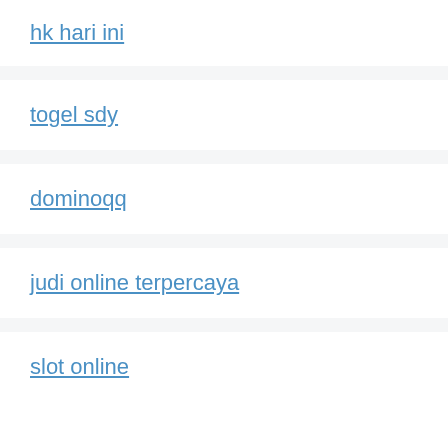hk hari ini
togel sdy
dominoqq
judi online terpercaya
slot online